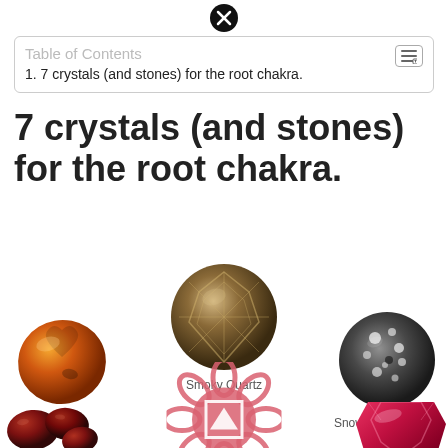Table of Contents — 1. 7 crystals (and stones) for the root chakra.
7 crystals (and stones) for the root chakra.
[Figure (illustration): Circular arrangement of crystals and stones for the root chakra: Smoky Quartz (faceted dark gem, top center), Carnelian (orange heart-shaped stone, left), Snowflake Obsidian (grey speckled sphere, right), red stones (bottom left), ruby (bottom right), and a pink chakra mandala symbol in the center bottom.]